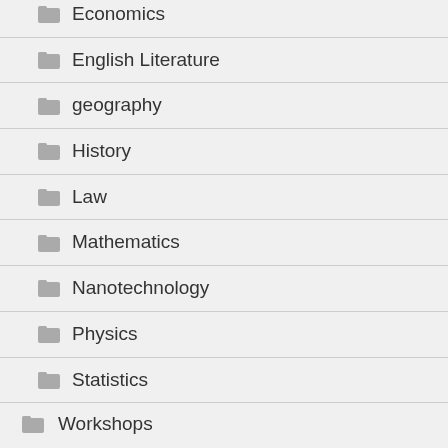Economics
English Literature
geography
History
Law
Mathematics
Nanotechnology
Physics
Statistics
Workshops